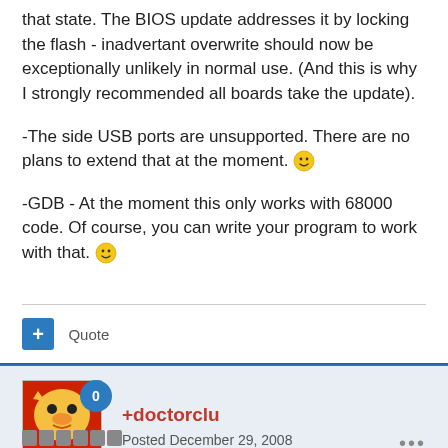that state. The BIOS update addresses it by locking the flash - inadvertant overwrite should now be exceptionally unlikely in normal use. (And this is why I strongly recommended all boards take the update).
-The side USB ports are unsupported. There are no plans to extend that at the moment. 🙂
-GDB - At the moment this only works with 68000 code. Of course, you can write your program to work with that. 🙂
+ Quote
+doctorclu
Posted December 29, 2008